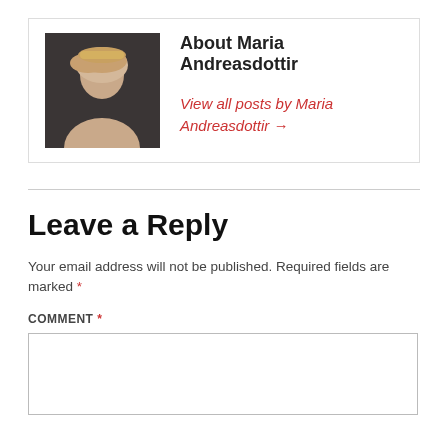[Figure (photo): Portrait photo of Maria Andreasdottir, a blonde woman against a dark background]
About Maria Andreasdottir
View all posts by Maria Andreasdottir →
Leave a Reply
Your email address will not be published. Required fields are marked *
COMMENT *